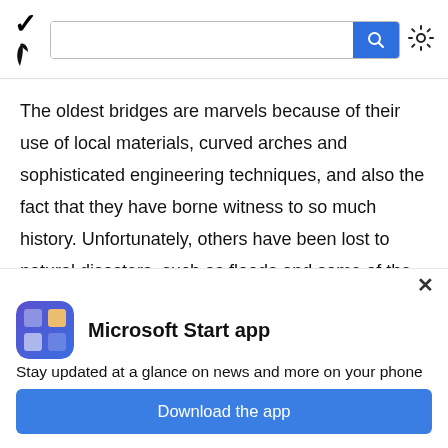MSN logo, search bar, settings icon
The oldest bridges are marvels because of their use of local materials, curved arches and sophisticated engineering techniques, and also the fact that they have borne witness to so much history. Unfortunately, others have been lost to natural disasters, such as floods and some of the worst earthquakes of all time, or to wars.
[Figure (logo): Microsoft Start app icon — blue/purple gradient tile with grid-like pattern]
Microsoft Start app
Stay updated at a glance on news and more on your phone
Download the app